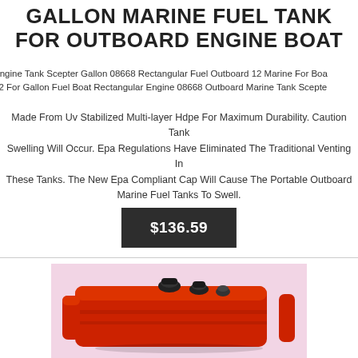GALLON MARINE FUEL TANK FOR OUTBOARD ENGINE BOAT
Engine Tank Scepter Gallon 08668 Rectangular Fuel Outboard 12 Marine For Boa 12 For Gallon Fuel Boat Rectangular Engine 08668 Outboard Marine Tank Scepte
Made From Uv Stabilized Multi-layer Hdpe For Maximum Durability. Caution Tank Swelling Will Occur. Epa Regulations Have Eliminated The Traditional Venting In These Tanks. The New Epa Compliant Cap Will Cause The Portable Outboard Marine Fuel Tanks To Swell.
$136.59
[Figure (photo): A red rectangular portable marine fuel tank with black fittings/caps on top, photographed against a light pink/lavender background.]